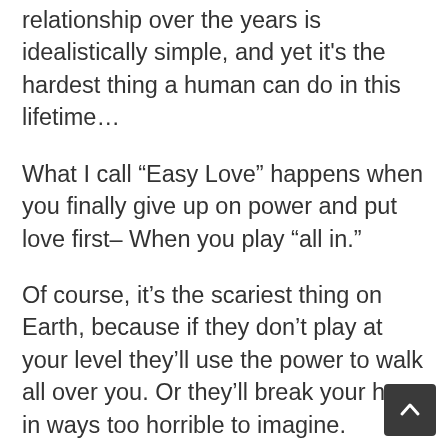relationship over the years is idealistically simple, and yet it's the hardest thing a human can do in this lifetime…
What I call “Easy Love” happens when you finally give up on power and put love first– When you play “all in.”
Of course, it’s the scariest thing on Earth, because if they don’t play at your level they’ll use the power to walk all over you. Or they’ll break your heart in ways too horrible to imagine.
When we’re really crazy about